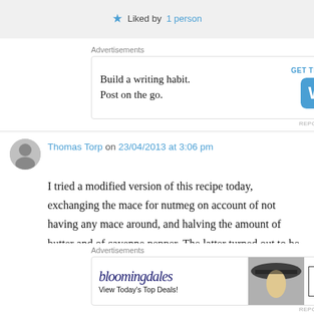★ Liked by 1 person
Advertisements
[Figure (screenshot): WordPress mobile app advertisement: 'Build a writing habit. Post on the go.' with GET THE APP button and WordPress logo]
Thomas Torp on 23/04/2013 at 3:06 pm
I tried a modified version of this recipe today, exchanging the mace for nutmeg on account of not having any mace around, and halving the amount of butter and of cayenne pepper. The latter turned out to be a mistake – it could well
Advertisements
[Figure (screenshot): Bloomingdales advertisement: 'View Today's Top Deals!' with SHOP NOW > button and image of woman with hat]